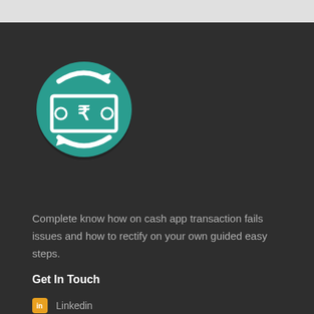[Figure (illustration): Teal circular icon with white rupee currency note and circular arrows indicating cash transaction/transfer]
Complete know how on cash app transaction fails issues and how to rectify on your own guided easy steps.
Get In Touch
Linkedin
Facebook